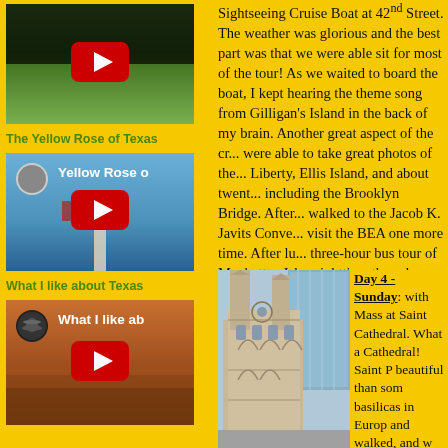[Figure (screenshot): YouTube video thumbnail - first video, dark/nature background with red play button]
The Yellow Rose of Texas
[Figure (screenshot): YouTube video thumbnail - 'Yellow Rose of Texas' showing monument/obelisk with flags, red play button overlay]
What I like about Texas
[Figure (screenshot): YouTube video thumbnail - 'What I like about Texas' showing desert canyon landscape, red play button overlay]
Sightseeing Cruise Boat at 42nd Street. The weather was glorious and the best part was that we were able sit for most of the tour! As we waited to board the boat, I kept hearing the theme song from Gilligan's Island in the back of my brain. Another great aspect of the cr... were able to take great photos of the... Liberty, Ellis Island, and about twent... including the Brooklyn Bridge. After... walked to the Jacob K. Javits Conve... visit the BEA one more time. After lu... three-hour bus tour of Manhattan Isl... nighttime three-hour bus tour of Man...
[Figure (photo): Photo of Saint Patrick's Cathedral in New York City, looking up at gothic spires with modern glass buildings in background]
Day 4 - Sunday: with Mass at Saint Cathedral. What a Cathedral! Saint P beautiful than some basilicas in Europe and walked, and w taking a carriage